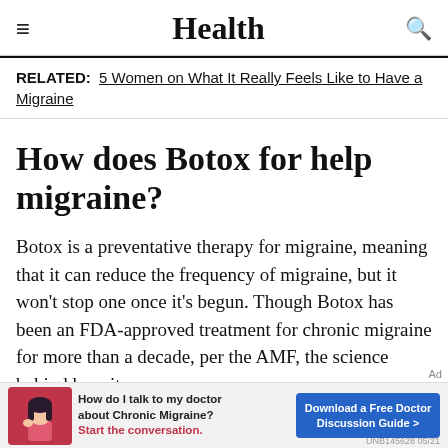Health
RELATED: 5 Women on What It Really Feels Like to Have a Migraine
How does Botox for help migraine?
Botox is a preventative therapy for migraine, meaning that it can reduce the frequency of migraine, but it won't stop one once it's begun. Though Botox has been an FDA-approved treatment for chronic migraine for more than a decade, per the AMF, the science behind how it
[Figure (other): Advertisement banner: illustration of a woman with dark hair, text 'How do I talk to my doctor about Chronic Migraine? Start the conversation.' and a blue button 'Download a Free Doctor Discussion Guide >' with code UNB145628 05/21]